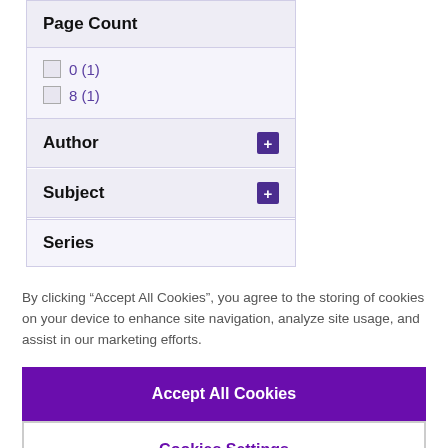Page Count
0 (1)
8 (1)
Author
Subject
Series
By clicking “Accept All Cookies”, you agree to the storing of cookies on your device to enhance site navigation, analyze site usage, and assist in our marketing efforts.
Accept All Cookies
Cookies Settings